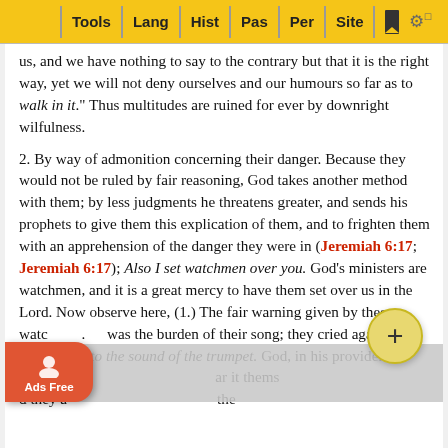Tools | Lang | Hist | Pas | Per | Site
us, and we have nothing to say to the contrary but that it is the right way, yet we will not deny ourselves and our humours so far as to walk in it." Thus multitudes are ruined for ever by downright wilfulness.
2. By way of admonition concerning their danger. Because they would not be ruled by fair reasoning, God takes another method with them; by less judgments he threatens greater, and sends his prophets to give them this explication of them, and to frighten them with an apprehension of the danger they were in (Jeremiah 6:17; Jeremiah 6:17); Also I set watchmen over you. God's ministers are watchmen, and it is a great mercy to have them set over us in the Lord. Now observe here, (1.) The fair warning given by these watchmen. was the burden of their song; they cried again and again, rken to the sound of the trumpet. God, in his providence, sound ar it thems d they a the